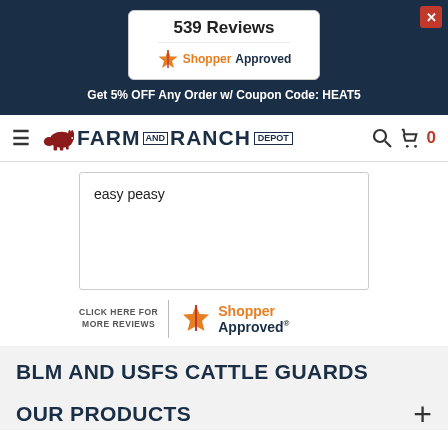[Figure (screenshot): Top dark navy banner with 539 Reviews ShopperApproved card and coupon code text, and a red close button]
539 Reviews
[Figure (logo): ShopperApproved logo with orange star]
Get 5% OFF Any Order w/ Coupon Code: HEAT5
[Figure (logo): Farm and Ranch Depot logo with cow icon]
easy peasy
[Figure (logo): ShopperApproved logo with click here for more reviews text]
BLM AND USFS CATTLE GUARDS
OUR PRODUCTS